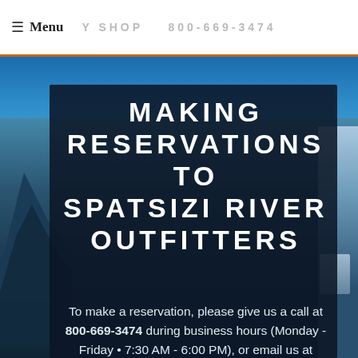≡ Menu   Y SHOP   800-669-3474
[Figure (photo): Mountain landscape with blue sky, snow-capped peaks, and lake, behind a dark semi-transparent overlay panel with text about making reservations to Spatsizi River Outfitters]
MAKING RESERVATIONS TO SPATSIZI RIVER OUTFITTERS
To make a reservation, please give us a call at 800-669-3474 during business hours (Monday - Friday • 7:30 AM - 6:00 PM), or email us at travel@theflyshop.com